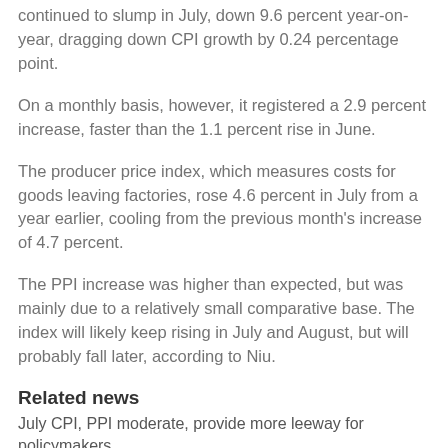continued to slump in July, down 9.6 percent year-on-year, dragging down CPI growth by 0.24 percentage point.
On a monthly basis, however, it registered a 2.9 percent increase, faster than the 1.1 percent rise in June.
The producer price index, which measures costs for goods leaving factories, rose 4.6 percent in July from a year earlier, cooling from the previous month's increase of 4.7 percent.
The PPI increase was higher than expected, but was mainly due to a relatively small comparative base. The index will likely keep rising in July and August, but will probably fall later, according to Niu.
Related news
July CPI, PPI moderate, provide more leeway for policymakers
2018-08-09